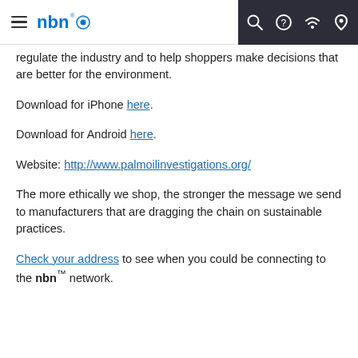nbn navigation bar with hamburger menu, nbn logo, search, help, wifi, and location icons
regulate the industry and to help shoppers make decisions that are better for the environment.
Download for iPhone here.
Download for Android here.
Website: http://www.palmoilinvestigations.org/
The more ethically we shop, the stronger the message we send to manufacturers that are dragging the chain on sustainable practices.
Check your address to see when you could be connecting to the nbn™ network.